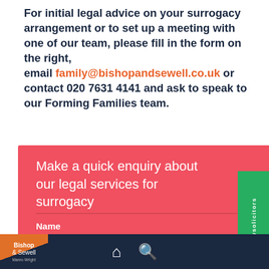For initial legal advice on your surrogacy arrangement or to set up a meeting with one of our team, please fill in the form on the right, email family@bishopandsewell.co.uk or contact 020 7631 4141 and ask to speak to our Forming Families team.
Make a quick enquiry about our legal services for surrogacy
Name
[Figure (screenshot): reviewsolicitors badge - green vertical banner on the right side]
Bishop & Sewell | Manro Wright | home icon | search icon